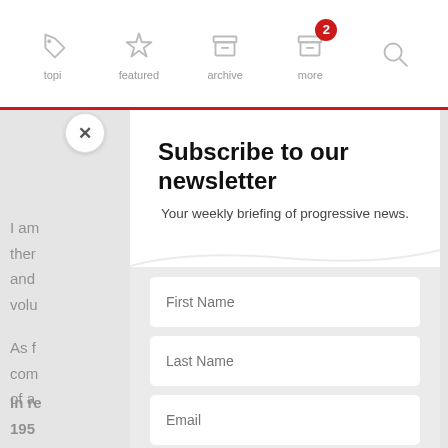[Figure (screenshot): Navigation bar with icons: tag/topics, star/featured, archive, more (with red badge showing 2), and search icon]
I am
there
and
volu
As f
com
of a
In re
195
opin
mes
Subscribe to our newsletter
Your weekly briefing of progressive news.
First Name
Last Name
Email
SUBSCRIBE!